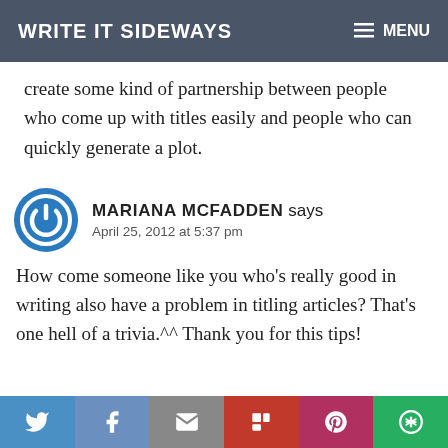WRITE IT SIDEWAYS — MENU
create some kind of partnership between people who come up with titles easily and people who can quickly generate a plot.
MARIANA MCFADDEN says
April 25, 2012 at 5:37 pm
How come someone like you who's really good in writing also have a problem in titling articles? That's one hell of a trivia.^^ Thank you for this tips!